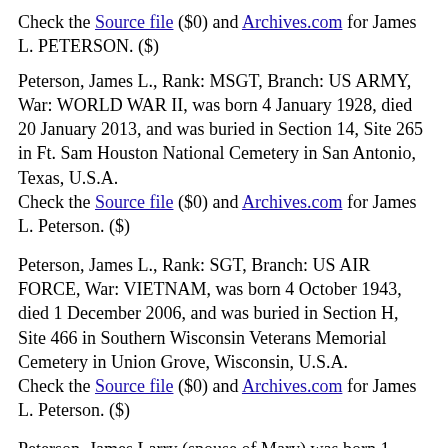Check the Source file ($0) and Archives.com for James L. PETERSON. ($)
Peterson, James L., Rank: MSGT, Branch: US ARMY, War: WORLD WAR II, was born 4 January 1928, died 20 January 2013, and was buried in Section 14, Site 265 in Ft. Sam Houston National Cemetery in San Antonio, Texas, U.S.A.
Check the Source file ($0) and Archives.com for James L. Peterson. ($)
Peterson, James L., Rank: SGT, Branch: US AIR FORCE, War: VIETNAM, was born 4 October 1943, died 1 December 2006, and was buried in Section H, Site 466 in Southern Wisconsin Veterans Memorial Cemetery in Union Grove, Wisconsin, U.S.A.
Check the Source file ($0) and Archives.com for James L. Peterson. ($)
Peterson, James Larry (spouse of Mary) was born 1 September 1945, died 22 January 2017, and was buried